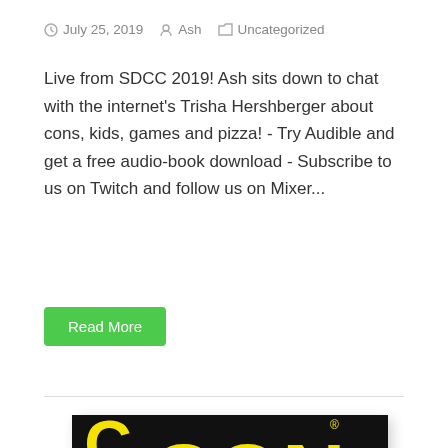July 25, 2019   Ash   Uncategorized
Live from SDCC 2019! Ash sits down to chat with the internet's Trisha Hershberger about cons, kids, games and pizza! - Try Audible and get a free audio-book download - Subscribe to us on Twitch and follow us on Mixer...
Read More
[Figure (photo): Comic-Con 50th anniversary logo — yellow and black bold text reading COMIC CON 50 with a stylized eye illustration in the background on a black and grey background.]